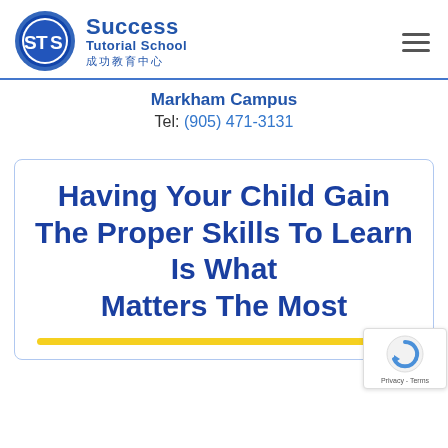[Figure (logo): Success Tutorial School logo — circular badge with 'STS' letters in blue, with school name in bold blue text and Chinese characters below]
Markham Campus
Tel: (905) 471-3131
Having Your Child Gain The Proper Skills To Learn Is What Matters The Most